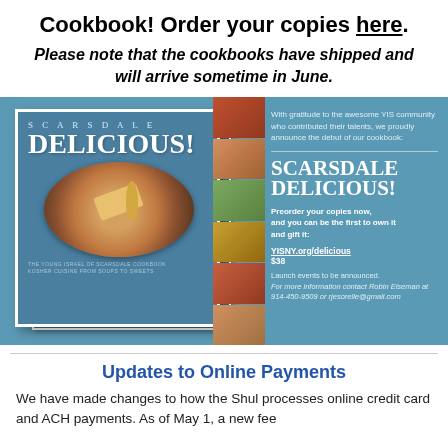Cookbook! Order your copies here.
Please note that the cookbooks have shipped and will arrive sometime in June.
[Figure (photo): Scarsdale Delicious cookbook cover and promotional banner with blue background, showing a food photo (chicken with olives on a plate with golden fork), side strip of food photos, and text announcing the cookbook debut with preorder information.]
Updates to Online Payments
We have made changes to how the Shul processes online credit card and ACH payments. As of May 1, a new fee